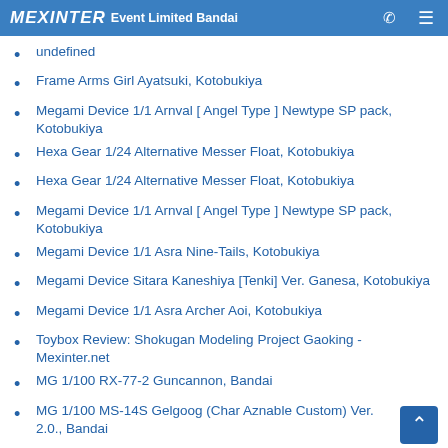MEXINTER Event Limited Bandai
undefined
Frame Arms Girl Ayatsuki, Kotobukiya
Megami Device 1/1 Arnval [ Angel Type ] Newtype SP pack, Kotobukiya
Hexa Gear 1/24 Alternative Messer Float, Kotobukiya
Hexa Gear 1/24 Alternative Messer Float, Kotobukiya
Megami Device 1/1 Arnval [ Angel Type ] Newtype SP pack, Kotobukiya
Megami Device 1/1 Asra Nine-Tails, Kotobukiya
Megami Device Sitara Kaneshiya [Tenki] Ver. Ganesa, Kotobukiya
Megami Device 1/1 Asra Archer Aoi, Kotobukiya
Toybox Review: Shokugan Modeling Project Gaoking - Mexinter.net
MG 1/100 RX-77-2 Guncannon, Bandai
MG 1/100 MS-14S Gelgoog (Char Aznable Custom) Ver. 2.0., Bandai